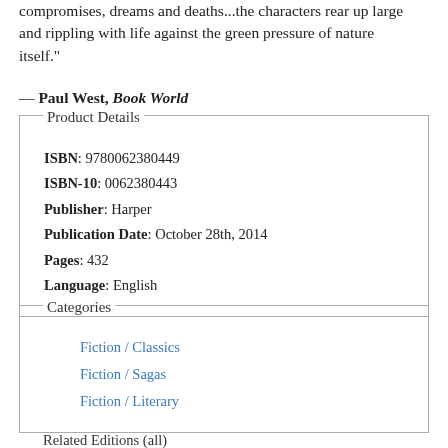compromises, dreams and deaths...the characters rear up large and rippling with life against the green pressure of nature itself."
— Paul West, Book World
Product Details
ISBN: 9780062380449
ISBN-10: 0062380443
Publisher: Harper
Publication Date: October 28th, 2014
Pages: 432
Language: English
Categories
Fiction / Classics
Fiction / Sagas
Fiction / Literary
Related Editions (all)